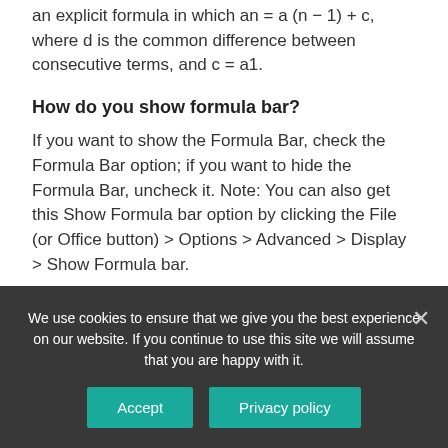an explicit formula in which an = a (n − 1) + c, where d is the common difference between consecutive terms, and c = a1.
How do you show formula bar?
If you want to show the Formula Bar, check the Formula Bar option; if you want to hide the Formula Bar, uncheck it. Note: You can also get this Show Formula bar option by clicking the File (or Office button) > Options > Advanced > Display > Show Formula bar.
We use cookies to ensure that we give you the best experience on our website. If you continue to use this site we will assume that you are happy with it.
Accept
Privacy policy